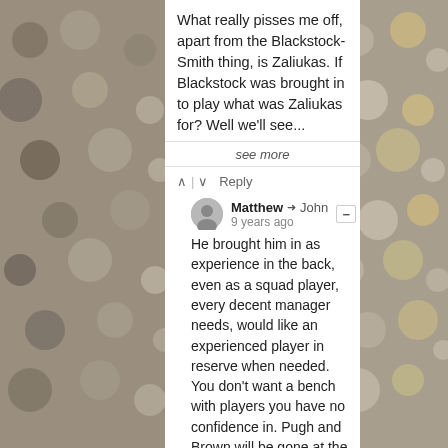What really pisses me off, apart from the Blackstock-Smith thing, is Zaliukas. If Blackstock was brought in to play what was Zaliukas for? Well we'll see more in...
see more
↑ | ↓   Reply
Matthew → John
9 years ago
He brought him in as experience in the back, even as a squad player, every decent manager needs, would like an experienced player in reserve when needed. You don't want a bench with players you have no confidence in. Pugh and Brown will be gone at the end of the season, as will Drury and a few other oldies, he's thinking ahead to the future with his recruitments.
1 ↑ | ↓   Reply